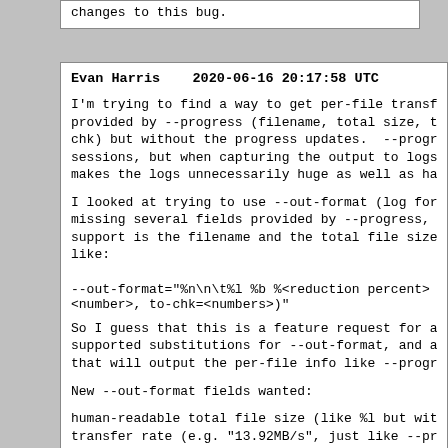changes to this bug.
Evan Harris    2020-06-16 20:17:58 UTC
I'm trying to find a way to get per-file transfer st provided by --progress (filename, total size, transf chk) but without the progress updates.  --progress i sessions, but when capturing the output to logs, the makes the logs unnecessarily huge as well as hard to
I looked at trying to use --out-format (log format) missing several fields provided by --progress, in fa support is the filename and the total file size.  I' like:
--out-format="%n\n\t%l %b %<reduction percent> %<xfe <number>, to-chk=<numbers>)"
So I guess that this is a feature request for adding supported substitutions for --out-format, and a shor that will output the per-file info like --progress b
New --out-format fields wanted:
human-readable total file size (like %l but with com transfer rate (e.g. "13.92MB/s", just like --progres transfer reduction/efficiency (%b/%l as a percentage transfer time (e.g. "0:00:04", like --progress, but took instead of the time remaining) transfer number (like --progress xfr#)